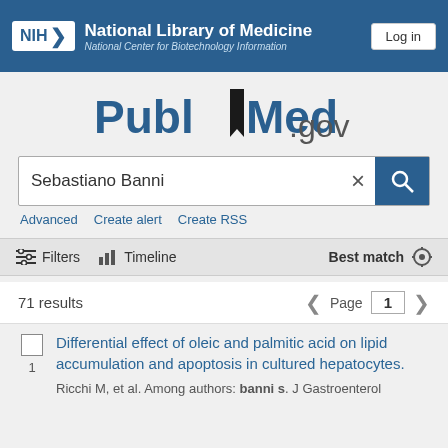NIH National Library of Medicine National Center for Biotechnology Information | Log in
[Figure (logo): PubMed.gov logo with bookmark icon]
Sebastiano Banni
Advanced   Create alert   Create RSS
Filters   Timeline   Best match
71 results   Page 1
Differential effect of oleic and palmitic acid on lipid accumulation and apoptosis in cultured hepatocytes. Ricchi M, et al. Among authors: banni s. J Gastroenterol